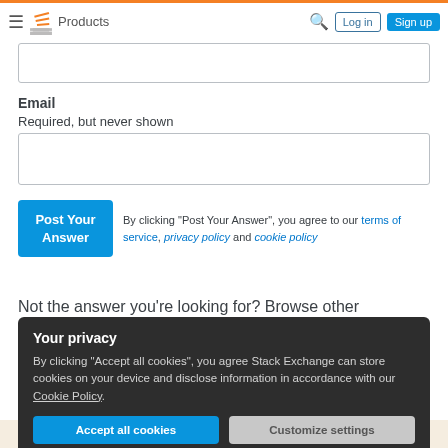≡  Stack Overflow  Products  🔍  Log in  Sign up
Email
Required, but never shown
Post Your Answer
By clicking "Post Your Answer", you agree to our terms of service, privacy policy and cookie policy
Not the answer you're looking for? Browse other questions
Your privacy
By clicking "Accept all cookies", you agree Stack Exchange can store cookies on your device and disclose information in accordance with our Cookie Policy.
Accept all cookies  Customize settings
Valley and Shanghai...